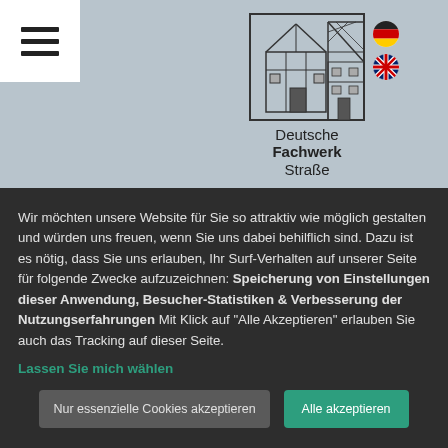[Figure (logo): Deutsche Fachwerkstraße logo with line drawing of a half-timbered house and German/UK flag icons]
Wir möchten unsere Website für Sie so attraktiv wie möglich gestalten und würden uns freuen, wenn Sie uns dabei behilflich sind. Dazu ist es nötig, dass Sie uns erlauben, Ihr Surf-Verhalten auf unserer Seite für folgende Zwecke aufzuzeichnen: Speicherung von Einstellungen dieser Anwendung, Besucher-Statistiken & Verbesserung der Nutzungserfahrungen Mit Klick auf "Alle Akzeptieren" erlauben Sie auch das Tracking auf dieser Seite.
Lassen Sie mich wählen
Nur essenzielle Cookies akzeptieren
Alle akzeptieren